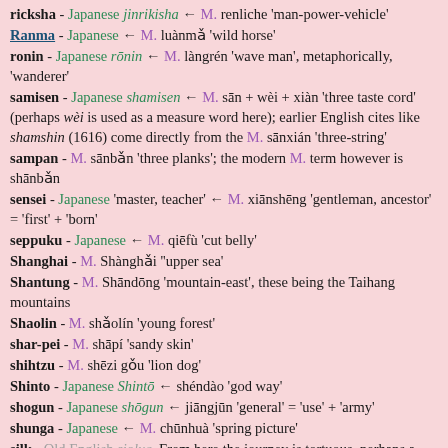ricksha - Japanese jinrikisha ← M. renliche 'man-power-vehicle'
Ranma - Japanese ← M. luànmǎ 'wild horse'
ronin - Japanese rōnin ← M. làngrén 'wave man', metaphorically, 'wanderer'
samisen - Japanese shamisen ← M. sān + wèi + xiàn 'three taste cord' (perhaps wèi is used as a measure word here); earlier English cites like shamshin (1616) come directly from the M. sānxián 'three-string'
sampan - M. sānbǎn 'three planks'; the modern M. term however is shānbǎn
sensei - Japanese 'master, teacher' ← M. xiānshēng 'gentleman, ancestor' = 'first' + 'born'
seppuku - Japanese ← M. qiēfù 'cut belly'
Shanghai - M. Shànghǎi ''upper sea'
Shantung - M. Shāndōng 'mountain-east', these being the Taihang mountains
Shaolin - M. shǎolín 'young forest'
shar-pei - M. shāpí 'sandy skin'
shihtzu - M. shēzi gǒu 'lion dog'
Shinto - Japanese Shintō ← shéndào 'god way'
shogun - Japanese shōgun ← jiāngjūn 'general' = 'use' + 'army'
shunga - Japanese ← M. chūnhuà 'spring picture'
silk - Old English sioluc. From here the journey is tortuous, perhaps a little too much so: Old Slavonic šelkŭ ← Greek Sēres 'Orientals', i.e. perhaps 'the silk people' ← some Altaic precursor